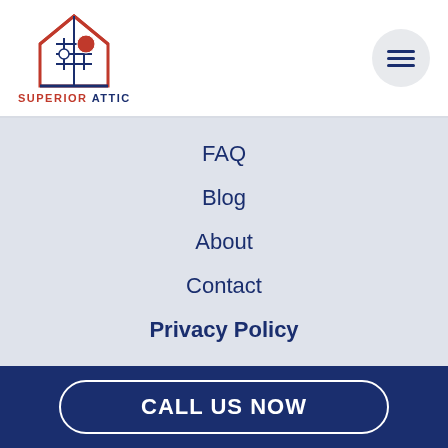[Figure (logo): Superior Attic logo: red house outline with snowflake and sun inside, text SUPERIOR ATTIC below]
FAQ
Blog
About
Contact
Privacy Policy
Attic Insulation | Blown-in Insulation | Spray Foam Insulation | Attic Insulation Removal | Radiant Barrier Insulation |
CALL US NOW